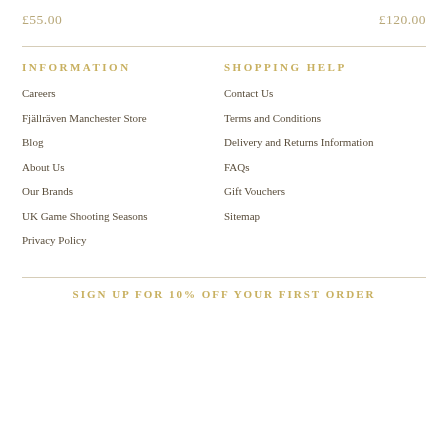£55.00
£120.00
INFORMATION
SHOPPING HELP
Careers
Contact Us
Fjällräven Manchester Store
Terms and Conditions
Blog
Delivery and Returns Information
About Us
FAQs
Our Brands
Gift Vouchers
UK Game Shooting Seasons
Sitemap
Privacy Policy
SIGN UP FOR 10% OFF YOUR FIRST ORDER